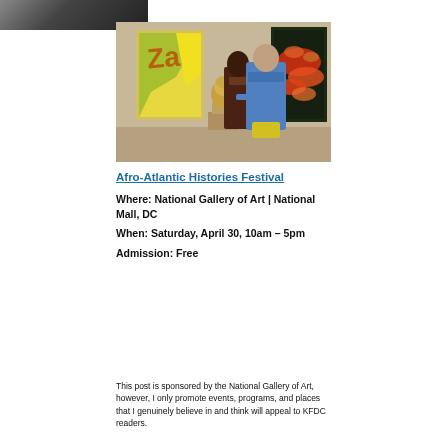[Figure (photo): Small partial photo strip at top left, appears to be a cropped image in dark tones]
[Figure (photo): Two people viewed from behind looking at artwork in a gallery. A bronze sculpture bust is on the left, colorful paintings on the walls including a yellow/green abstract and a red/orange painting on dark background.]
Afro-Atlantic Histories Festival
Where: National Gallery of Art | National Mall, DC
When: Saturday, April 30, 10am – 5pm
Admission: Free
This post is sponsored by the National Gallery of Art, however, I only promote events, programs, and places that I genuinely believe in and think will appeal to KFDC readers.